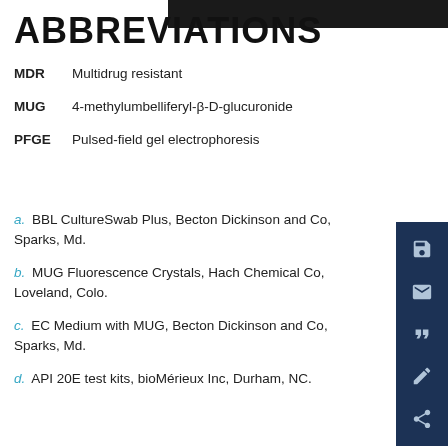ABBREVIATIONS
MDR   Multidrug resistant
MUG   4-methylumbelliferyl-β-D-glucuronide
PFGE   Pulsed-field gel electrophoresis
a. BBL CultureSwab Plus, Becton Dickinson and Co, Sparks, Md.
b. MUG Fluorescence Crystals, Hach Chemical Co, Loveland, Colo.
c. EC Medium with MUG, Becton Dickinson and Co, Sparks, Md.
d. API 20E test kits, bioMérieux Inc, Durham, NC.